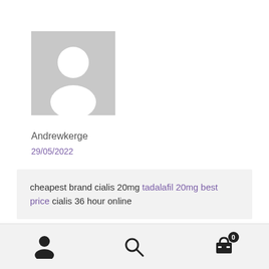[Figure (illustration): Generic user avatar placeholder: grey square with white silhouette of a person]
Andrewkerge
29/05/2022
cheapest brand cialis 20mg tadalafil 20mg best price cialis 36 hour online
Odgovori ↩
[Figure (infographic): Bottom navigation bar with person icon, search icon, and shopping cart icon with badge showing 0]